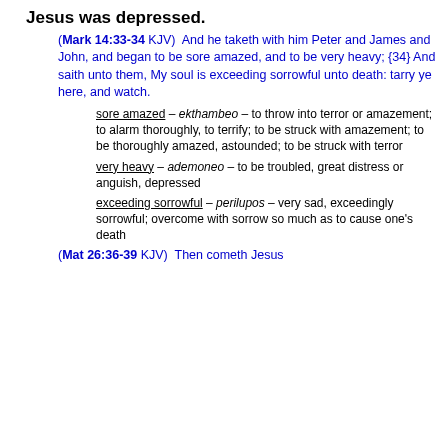Jesus was depressed.
(Mark 14:33-34 KJV)  And he taketh with him Peter and James and John, and began to be sore amazed, and to be very heavy; {34} And saith unto them, My soul is exceeding sorrowful unto death: tarry ye here, and watch.
sore amazed – ekthambeo – to throw into terror or amazement; to alarm thoroughly, to terrify; to be struck with amazement; to be thoroughly amazed, astounded; to be struck with terror
very heavy – ademoneo – to be troubled, great distress or anguish, depressed
exceeding sorrowful – perilupos – very sad, exceedingly sorrowful; overcome with sorrow so much as to cause one's death
(Mat 26:36-39 KJV)  Then cometh Jesus